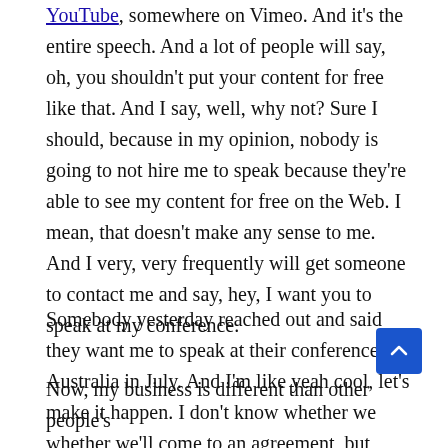YouTube, somewhere on Vimeo. And it's the entire speech. And a lot of people will say, oh, you shouldn't put your content for free like that. And I say, well, why not? Sure I should, because in my opinion, nobody is going to not hire me to speak because they're able to see my content for free on the Web. I mean, that doesn't make any sense to me. And I very, very frequently will get someone to contact me and say, hey, I want you to speak at my conference.
Somebody yesterday reached out and said they want me to speak at their conference in Australia in July. And I'm like yeah cool, let's make it happen. I don't know whether we whether we'll come to an agreement, but these these are people who actually watch the video.
Now, my business is different than other people's